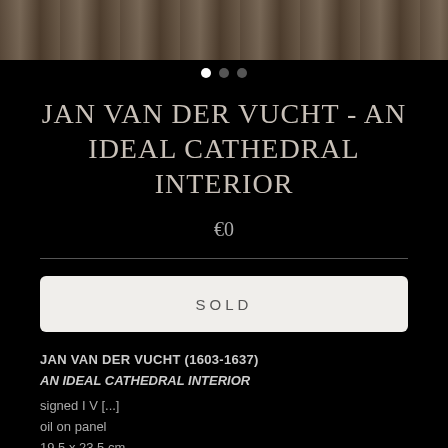[Figure (photo): Partial view of a painting showing a cathedral interior, dark toned]
JAN VAN DER VUCHT - AN IDEAL CATHEDRAL INTERIOR
€0
SOLD
JAN VAN DER VUCHT (1603-1637)
AN IDEAL CATHEDRAL INTERIOR
signed I V [...]
oil on panel
19.5 x 23.5 cm.
PROVENANCE:
Vera Tersmeden (1892-1987), Stockholm;